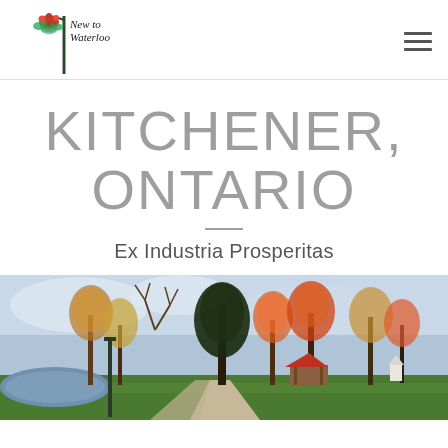New to Waterloo
KITCHENER, ONTARIO
Ex Industria Prosperitas
[Figure (photo): Autumn park scene in Kitchener, Ontario, showing colourful fall trees, a pathway, a gazebo with red roof, and a reflective pond on the left side.]